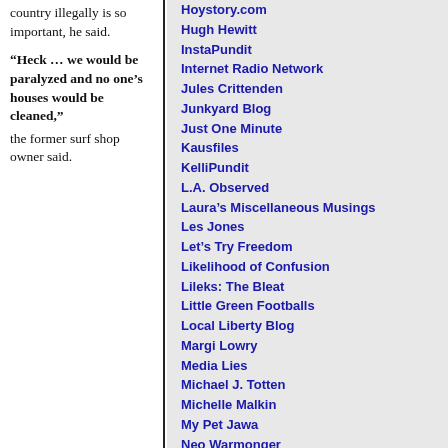country illegally is so important, he said.
“Heck … we would be paralyzed and no one’s houses would be cleaned,” the former surf shop owner said.
Hoystory.com
Hugh Hewitt
InstaPundit
Internet Radio Network
Jules Crittenden
Junkyard Blog
Just One Minute
Kausfiles
KelliPundit
L.A. Observed
Laura's Miscellaneous Musings
Les Jones
Let's Try Freedom
Likelihood of Confusion
Lileks: The Bleat
Little Green Footballs
Local Liberty Blog
Margi Lowry
Media Lies
Michael J. Totten
Michelle Malkin
My Pet Jawa
Neo Warmonger
New England Republican
Oh, That Liberal Media
Okie on the Lam
Old Patriot's Pen
Oraculations
Outside the Beltway
Pajama Pundits
Patrick Ruffini
Pejmanesque